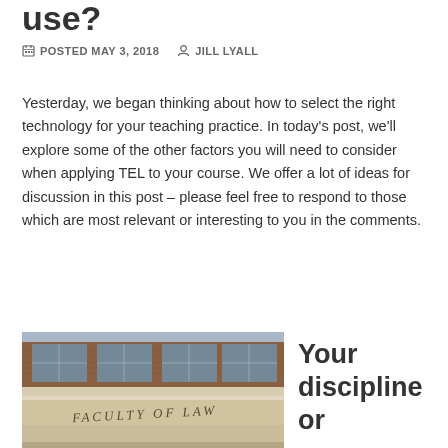use?
POSTED MAY 3, 2018   JILL LYALL
Yesterday, we began thinking about how to select the right technology for your teaching practice. In today's post, we'll explore some of the other factors you will need to consider when applying TEL to your course. We offer a lot of ideas for discussion in this post – please feel free to respond to those which are most relevant or interesting to you in the comments.
[Figure (photo): Exterior facade of a law building showing engraved text 'FACULTY OF LAW' on stone, with brick and large windows visible above]
Your discipline or